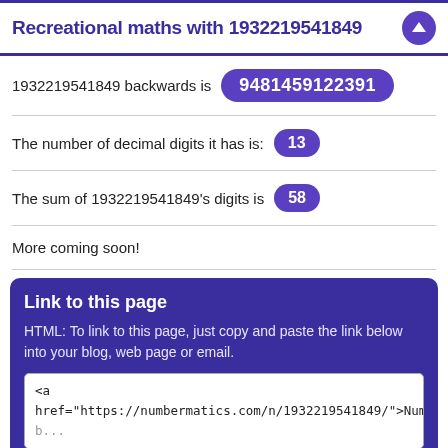Recreational maths with 1932219541849
1932219541849 backwards is 9481459122391
The number of decimal digits it has is: 13
The sum of 1932219541849's digits is 58
More coming soon!
Link to this page
HTML: To link to this page, just copy and paste the link below into your blog, web page or email.
<a
href="https://numbermatics.com/n/1932219541849/">Num
BBCODE: To link to this page in a forum post or